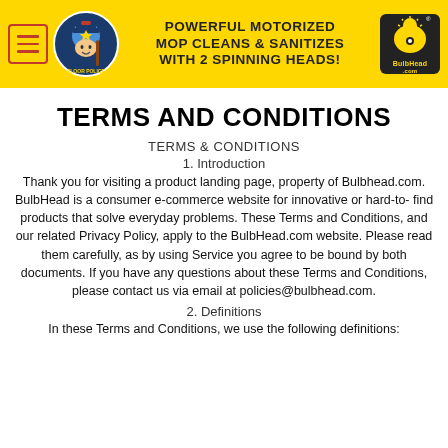[Figure (infographic): Yellow header banner with hamburger menu button, Floor Police logo, tagline 'POWERFUL MOTORIZED MOP CLEANS & SANITIZES WITH 2 SPINNING HEADS!', and BulbHead.com logo in black rounded box]
TERMS AND CONDITIONS
TERMS & CONDITIONS
1. Introduction
Thank you for visiting a product landing page, property of Bulbhead.com. BulbHead is a consumer e-commerce website for innovative or hard-to- find products that solve everyday problems. These Terms and Conditions, and our related Privacy Policy, apply to the BulbHead.com website. Please read them carefully, as by using Service you agree to be bound by both documents. If you have any questions about these Terms and Conditions, please contact us via email at policies@bulbhead.com.
2. Definitions
In these Terms and Conditions, we use the following definitions: